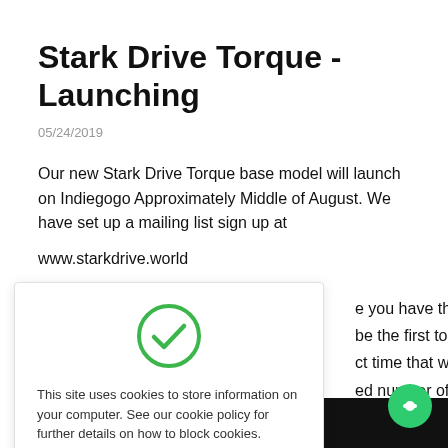Stark Drive Torque - Launching
05/24/2019
Our new Stark Drive Torque base model will launch on Indiegogo Approximately Middle of August. We have set up a mailing list sign up at
www.starkdrive.world
[Figure (screenshot): Cookie consent popup with green checkmark icon, text 'This site uses cookies to store information on your computer. See our cookie policy for further details on how to block cookies.' and an orange button labeled 'I am happy with this']
e you have the chance to be the first to receive our ct time that we launch so ed number of ultra d motor folding electric ultra powerful motor in